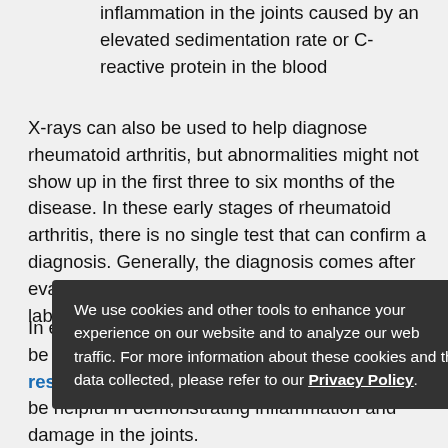inflammation in the joints caused by an elevated sedimentation rate or C-reactive protein in the blood
X-rays can also be used to help diagnose rheumatoid arthritis, but abnormalities might not show up in the first three to six months of the disease. In these early stages of rheumatoid arthritis, there is no single test that can confirm a diagnosis. Generally, the diagnosis comes after evaluating the symptoms from a physical exam, lab tests, and X-ray.
In early disease and in cases which there may be a question of diagnosis, magnetic resonance imaging (MRI) and ultrasound may be helpful in demonstrating inflammation and damage in the joints.
We use cookies and other tools to enhance your experience on our website and to analyze our web traffic. For more information about these cookies and the data collected, please refer to our Privacy Policy.